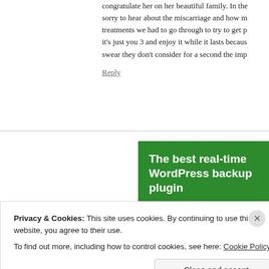congratulate her on her beautiful family. In the sorry to hear about the miscarriage and how m treatments we had to go through to try to get p it's just you 3 and enjoy it while it lasts becaus swear they don't consider for a second the imp
Reply
[Figure (screenshot): Green advertisement banner for WordPress backup plugin reading 'The best real-time WordPress backup plugin' with a white button 'Back up your site']
Privacy & Cookies: This site uses cookies. By continuing to use this website, you agree to their use.
To find out more, including how to control cookies, see here: Cookie Policy
Close and accept